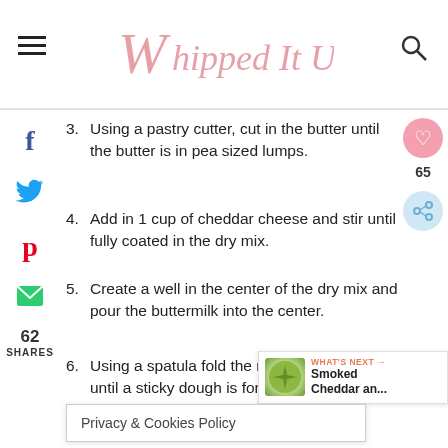Whipped It Up
3. Using a pastry cutter, cut in the butter until the butter is in pea sized lumps.
4. Add in 1 cup of cheddar cheese and stir until fully coated in the dry mix.
5. Create a well in the center of the dry mix and pour the buttermilk into the center.
6. Using a spatula fold the mixture together until a sticky dough is formed.
7. Transfer the dough to a lightly floured surface and knead fo minutes until firm.
8. [Privacy & Cookies Policy] a large
Privacy & Cookies Policy